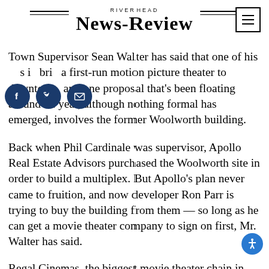RIVERHEAD NEWS-REVIEW
Town Supervisor Sean Walter has said that one of his goals is to bring a first-run motion picture theater to downtown, and one proposal that's been floating around all year, although nothing formal has emerged, involves the former Woolworth building.
Back when Phil Cardinale was supervisor, Apollo Real Estate Advisors purchased the Woolworth site in order to build a multiplex. But Apollo's plan never came to fruition, and now developer Ron Parr is trying to buy the building from them — so long as he can get a movie theater company to sign on first, Mr. Walter has said.
Regal Cinemas, the biggest movie theater chain in the